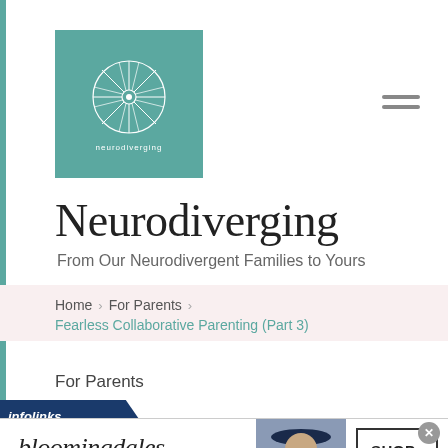[Figure (logo): Neurodiverging logo: teal square with white dharma wheel icon and site name text]
Neurodiverging
From Our Neurodivergent Families to Yours
Home > For Parents > Fearless Collaborative Parenting (Part 3)
For Parents
[Figure (infographic): infolinks label and Bloomingdales advertisement banner: View Today's Top Deals! SHOP NOW >]